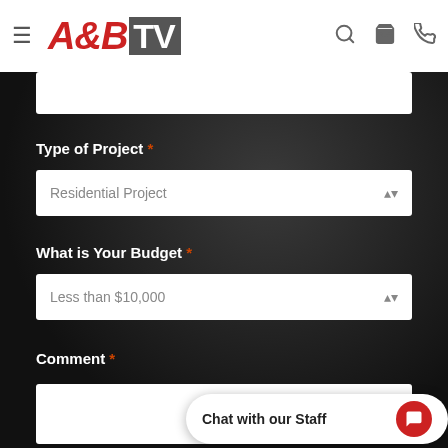[Figure (logo): A&B TV logo with hamburger menu, search, cart, and phone icons in website header]
Type of Project *
Residential Project (dropdown)
What is Your Budget *
Less than $10,000 (dropdown)
Comment *
Chat with our Staff